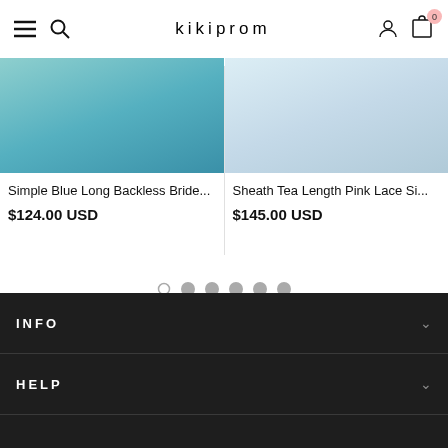kikiprom
[Figure (photo): Product image - Simple Blue Long Backless Bridesmaid dress (teal/blue color)]
Simple Blue Long Backless Bride...
$124.00 USD
[Figure (photo): Product image - Sheath Tea Length Pink Lace Si... dress (light blue/white color)]
Sheath Tea Length Pink Lace Si...
$145.00 USD
[Figure (other): Pagination dots - 6 dots, first is empty/outline, rest are filled gray]
INFO
HELP